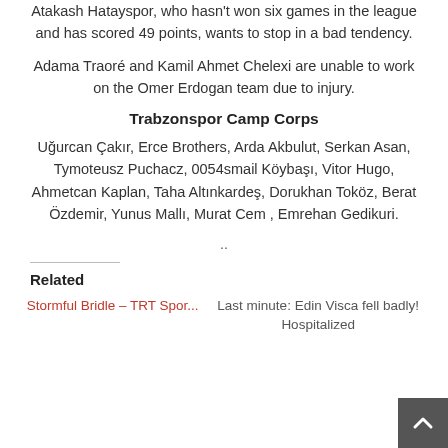Atakash Hatayspor, who hasn't won six games in the league and has scored 49 points, wants to stop in a bad tendency.
Adama Traoré and Kamil Ahmet Chelexi are unable to work on the Omer Erdogan team due to injury.
Trabzonspor Camp Corps
Uğurcan Çakır, Erce Brothers, Arda Akbulut, Serkan Asan, Tymoteusz Puchacz, 0054smail Köybaşı, Vitor Hugo, Ahmetcan Kaplan, Taha Altınkardeş, Dorukhan Toköz, Berat Özdemir, Yunus Mallı, Murat Cem , Emrehan Gedikuri.
..
Related
Stormful Bridle – TRT Spor...
Last minute: Edin Visca fell badly! Hospitalized